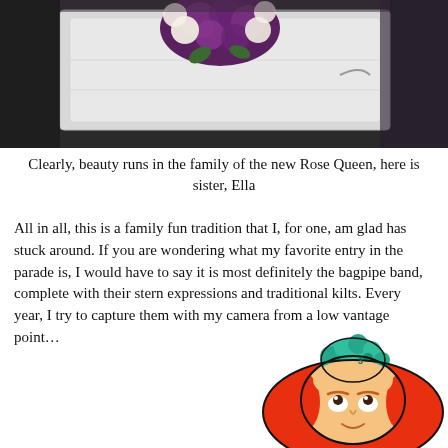[Figure (photo): Photo of a white casket or display case with a bouquet of purple and white roses on top, with people in dark clothing in the background.]
Clearly, beauty runs in the family of the new Rose Queen, here is sister, Ella
All in all, this is a family fun tradition that I, for one, am glad has stuck around. If you are wondering what my favorite entry in the parade is, I would have to say it is most definitely the bagpipe band, complete with their stern expressions and traditional kilts. Every year, I try to capture them with my camera from a low vantage point…
[Figure (illustration): Cartoon illustration of a red-haired character (Wilma Flintstone style) with teal hair accessory, viewed from low angle looking up, comic style.]